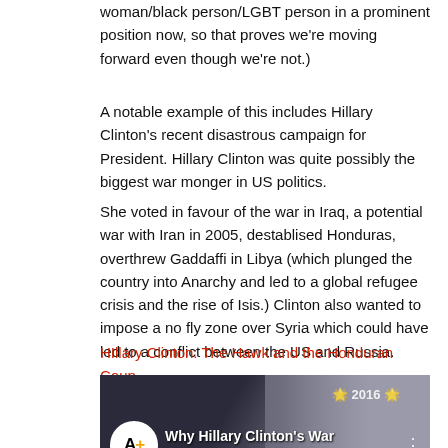woman/black person/LGBT person in a prominent position now, so that proves we're moving forward even though we're not.)
A notable example of this includes Hillary Clinton's recent disastrous campaign for President. Hillary Clinton was quite possibly the biggest war monger in US politics.
She voted in favour of the war in Iraq, a potential war with Iran in 2005, destablised Honduras, overthrew Gaddaffi in Libya (which plunged the country into Anarchy and led to a global refugee crisis and the rise of Isis.) Clinton also wanted to impose a no fly zone over Syria which could have led to a conflict between the US and Russia.
HIllary Clinton: The Hawk and the Honduran Coup
[Figure (screenshot): YouTube video thumbnail with AJ+ logo on the left, title 'Why Hillary Clinton's War Rec...' with two women visible, 2016 watermark, and a red play button at the bottom center.]